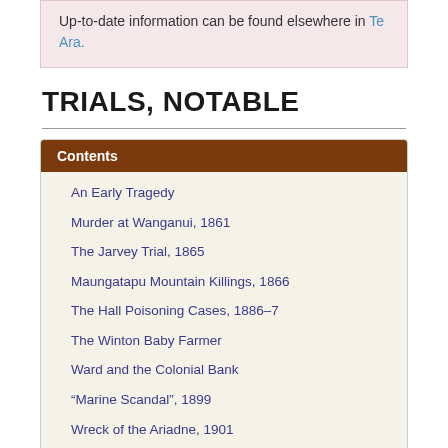Up-to-date information can be found elsewhere in Te Ara.
TRIALS, NOTABLE
Contents
An Early Tragedy
Murder at Wanganui, 1861
The Jarvey Trial, 1865
Maungatapu Mountain Killings, 1866
The Hall Poisoning Cases, 1886–7
The Winton Baby Farmer
Ward and the Colonial Bank
“Marine Scandal”, 1899
Wreck of the Ariadne, 1901
The Thompson Case, 1901
Lionel Terry’s Obsession, 1905
The Notorious Amy Bock, 1909